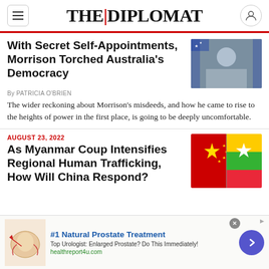THE DIPLOMAT
With Secret Self-Appointments, Morrison Torched Australia's Democracy
By PATRICIA O'BRIEN
The wider reckoning about Morrison's misdeeds, and how he came to rise to the heights of power in the first place, is going to be deeply uncomfortable.
[Figure (photo): Photo of Scott Morrison seated at a table with Australian flag in background]
AUGUST 23, 2022
As Myanmar Coup Intensifies Regional Human Trafficking, How Will China Respond?
[Figure (photo): Image of Chinese and Myanmar flags side by side]
[Figure (photo): Advertisement banner: #1 Natural Prostate Treatment - medical illustration of prostate]
#1 Natural Prostate Treatment
Top Urologist: Enlarged Prostate? Do This Immediately!
healthreport4u.com